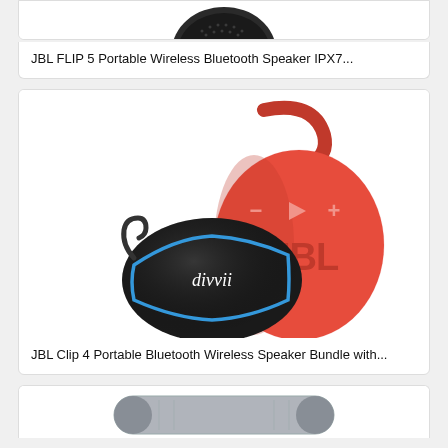[Figure (photo): Partial view of JBL FLIP 5 Portable Wireless Bluetooth Speaker (top portion cropped)]
JBL FLIP 5 Portable Wireless Bluetooth Speaker IPX7...
[Figure (photo): JBL Clip 4 red portable Bluetooth wireless speaker next to a black divvii carrying case with blue zipper trim and carabiner clip]
JBL Clip 4 Portable Bluetooth Wireless Speaker Bundle with...
[Figure (photo): Partial view of another portable Bluetooth speaker, bottom portion visible]